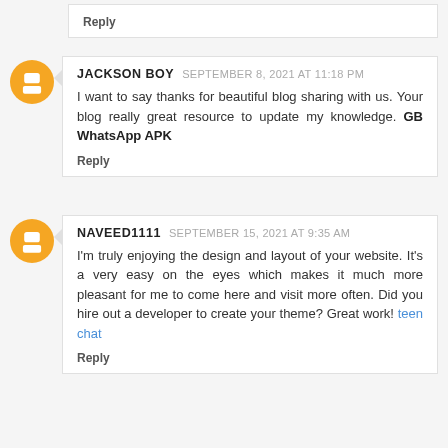Reply
JACKSON BOY  SEPTEMBER 8, 2021 AT 11:18 PM
I want to say thanks for beautiful blog sharing with us. Your blog really great resource to update my knowledge. GB WhatsApp APK
Reply
NAVEED1111  SEPTEMBER 15, 2021 AT 9:35 AM
I'm truly enjoying the design and layout of your website. It's a very easy on the eyes which makes it much more pleasant for me to come here and visit more often. Did you hire out a developer to create your theme? Great work! teen chat
Reply